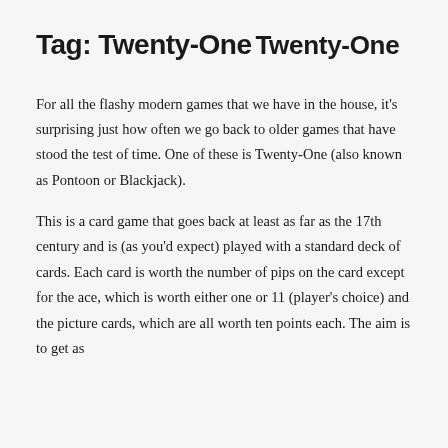Tag: Twenty-One
Twenty-One
For all the flashy modern games that we have in the house, it's surprising just how often we go back to older games that have stood the test of time. One of these is Twenty-One (also known as Pontoon or Blackjack).
This is a card game that goes back at least as far as the 17th century and is (as you'd expect) played with a standard deck of cards. Each card is worth the number of pips on the card except for the ace, which is worth either one or 11 (player's choice) and the picture cards, which are all worth ten points each. The aim is to get as